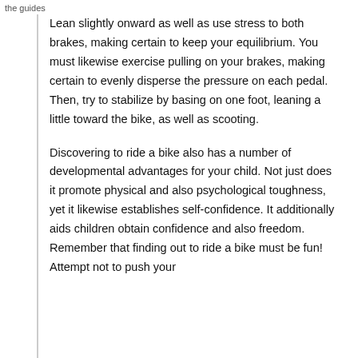the guides
Lean slightly onward as well as use stress to both brakes, making certain to keep your equilibrium. You must likewise exercise pulling on your brakes, making certain to evenly disperse the pressure on each pedal. Then, try to stabilize by basing on one foot, leaning a little toward the bike, as well as scooting.
Discovering to ride a bike also has a number of developmental advantages for your child. Not just does it promote physical and also psychological toughness, yet it likewise establishes self-confidence. It additionally aids children obtain confidence and also freedom. Remember that finding out to ride a bike must be fun! Attempt not to push your